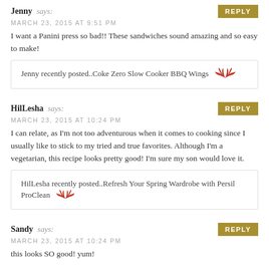Jenny says: MARCH 23, 2015 AT 9:51 PM
I want a Panini press so bad!! These sandwiches sound amazing and so easy to make!
Jenny recently posted..Coke Zero Slow Cooker BBQ Wings
HilLesha says: MARCH 23, 2015 AT 10:24 PM
I can relate, as I'm not too adventurous when it comes to cooking since I usually like to stick to my tried and true favorites. Although I'm a vegetarian, this recipe looks pretty good! I'm sure my son would love it.
HilLesha recently posted..Refresh Your Spring Wardrobe with Persil ProClean
Sandy says: MARCH 23, 2015 AT 10:24 PM
this looks SO good! yum!